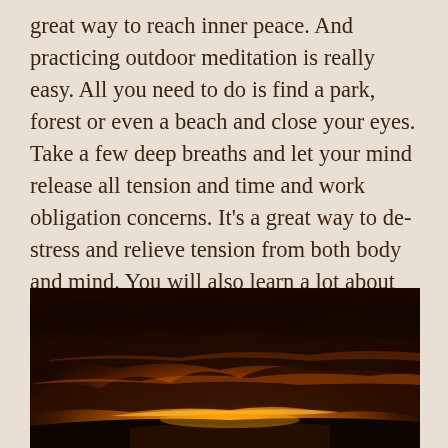great way to reach inner peace. And practicing outdoor meditation is really easy. All you need to do is find a park, forest or even a beach and close your eyes. Take a few deep breaths and let your mind release all tension and time and work obligation concerns. It’s a great way to de-stress and relieve tension from both body and mind. You will also learn a lot about yourself and practice mindfulness we all lack in this world filled with distractions and fast pleasures.
[Figure (photo): A dramatic sunset photograph showing dark storm clouds illuminated from below by intense orange and golden light, with a bright glowing horizon suggesting a sun setting behind distant mountains or hills.]